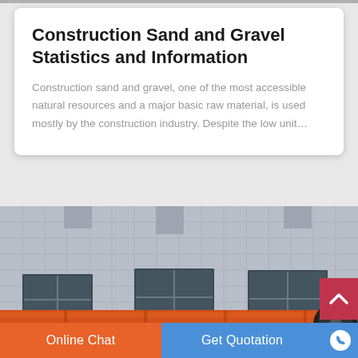Construction Sand and Gravel Statistics and Information
Construction sand and gravel, one of the most accessible natural resources and a major basic raw material, is used mostly by the construction industry. Despite the low unit...
[Figure (photo): Industrial building exterior with light grey tiled wall, windows, and an orange cylindrical industrial machine or drum in the foreground]
Online Chat
Get Quotation